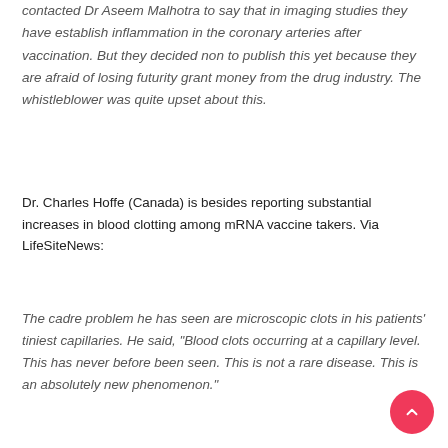contacted Dr Aseem Malhotra to say that in imaging studies they have establish inflammation in the coronary arteries after vaccination. But they decided non to publish this yet because they are afraid of losing futurity grant money from the drug industry. The whistleblower was quite upset about this.
Dr. Charles Hoffe (Canada) is besides reporting substantial increases in blood clotting among mRNA vaccine takers. Via LifeSiteNews:
The cadre problem he has seen are microscopic clots in his patients' tiniest capillaries. He said, "Blood clots occurring at a capillary level. This has never before been seen. This is not a rare disease. This is an absolutely new phenomenon."